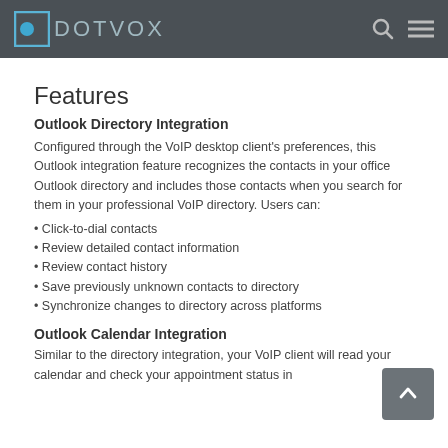DOTVOX
Features
Outlook Directory Integration
Configured through the VoIP desktop client's preferences, this Outlook integration feature recognizes the contacts in your office Outlook directory and includes those contacts when you search for them in your professional VoIP directory. Users can:
Click-to-dial contacts
Review detailed contact information
Review contact history
Save previously unknown contacts to directory
Synchronize changes to directory across platforms
Outlook Calendar Integration
Similar to the directory integration, your VoIP client will read your calendar and check your appointment status in